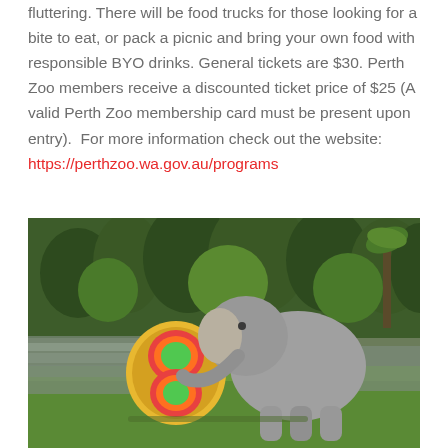fluttering. There will be food trucks for those looking for a bite to eat, or pack a picnic and bring your own food with responsible BYO drinks. General tickets are $30. Perth Zoo members receive a discounted ticket price of $25 (A valid Perth Zoo membership card must be present upon entry).  For more information check out the website: https://perthzoo.wa.gov.au/programs
[Figure (photo): An elephant at Perth Zoo touching a large decorative fruit cake/sculpture shaped like the number 3, while a large crowd of spectators watches in the background on green grass surrounded by trees.]